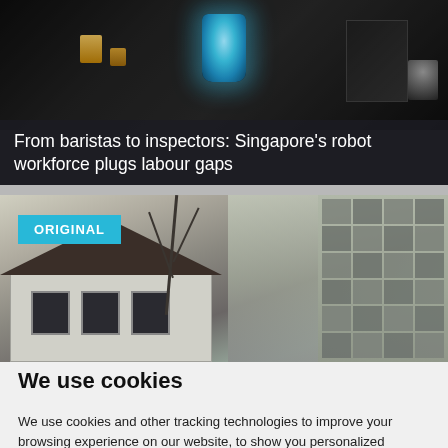[Figure (photo): Dark interior scene showing glowing blue cup or vessel in center with amber/orange lit objects on sides, dark background, appears to be a café or display setting]
From baristas to inspectors: Singapore's robot workforce plugs labour gaps
[Figure (photo): Exterior photo of a low-rise white heritage house with dark tiled roof and bare tree branches, with taller modern building visible in background. An 'ORIGINAL' badge in cyan overlays the top-left corner.]
We use cookies
We use cookies and other tracking technologies to improve your browsing experience on our website, to show you personalized content and targeted ads, to analyze our website traffic, and to understand where our visitors are coming from.